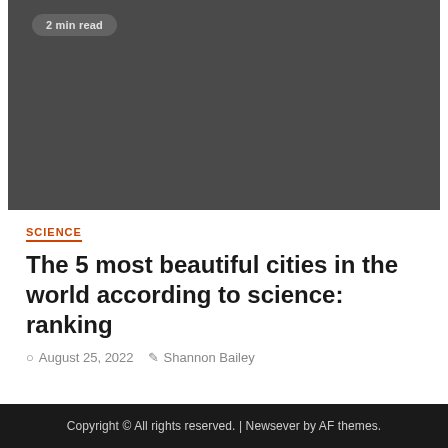[Figure (photo): Dark gray placeholder image area for an article thumbnail]
SCIENCE
The 5 most beautiful cities in the world according to science: ranking
August 25, 2022   Shannon Bailey
Copyright © All rights reserved. | Newsever by AF themes.